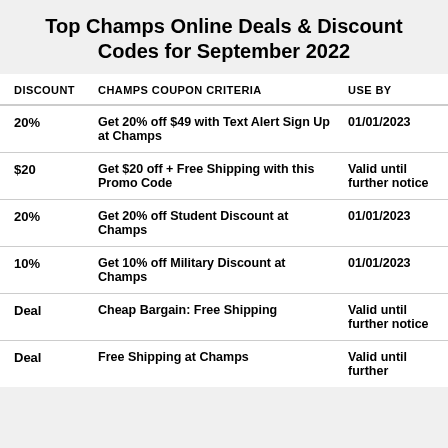Top Champs Online Deals & Discount Codes for September 2022
| DISCOUNT | CHAMPS COUPON CRITERIA | USE BY |
| --- | --- | --- |
| 20% | Get 20% off $49 with Text Alert Sign Up at Champs | 01/01/2023 |
| $20 | Get $20 off + Free Shipping with this Promo Code | Valid until further notice |
| 20% | Get 20% off Student Discount at Champs | 01/01/2023 |
| 10% | Get 10% off Military Discount at Champs | 01/01/2023 |
| Deal | Cheap Bargain: Free Shipping | Valid until further notice |
| Deal | Free Shipping at Champs | Valid until further |